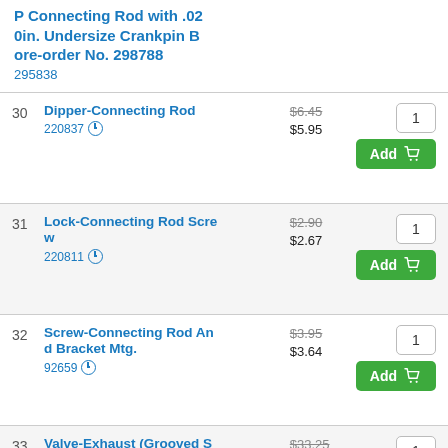P Connecting Rod with .020in. Undersize Crankpin Bore-order No. 298788
295838
30 | Dipper-Connecting Rod | 220837 | $6.45 / $5.95 | Qty: 1
31 | Lock-Connecting Rod Screw | 220811 | $2.90 / $2.67 | Qty: 1
32 | Screw-Connecting Rod And Bracket Mtg. | 92659 | $3.95 / $3.64 | Qty: 1
33 | Valve-Exhaust (Grooved Stem-Includes Retainer No. 221596) | Used After Code Date 6711030 | 299885 | $33.25 / $30.63 | Qty: 1